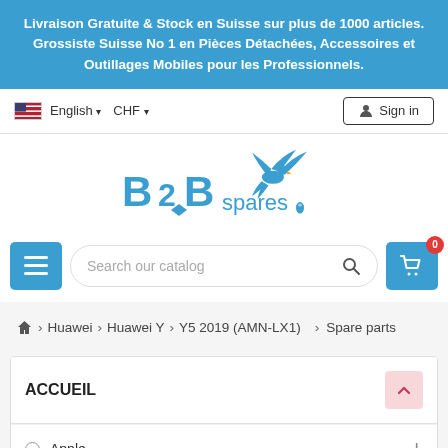Livraison Gratuite & Stock en Suisse sur plus de 1000 articles. Grossiste Suisse No 1 en Pièces Détachées, Accessoires et Outillages Mobiles pour les Professionnels.
English ▾  CHF ▾  Sign in
[Figure (logo): B2Bspares logo with eagle bird graphic in blue]
Search our catalog
🏠 > Huawei > Huawei Y > Y5 2019 (AMN-LX1) > Spare parts
ACCUEIL
Apple